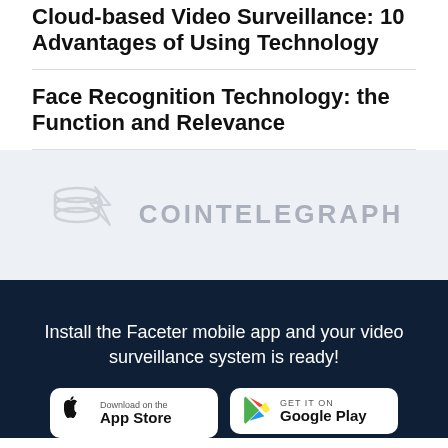Cloud-based Video Surveillance: 10 Advantages of Using Technology
Face Recognition Technology: the Function and Relevance
[Figure (logo): Cointelegraph logo in light gray, showing stacked coin database icon and wordmark COINTELEGRAPH]
Install the Faceter mobile app and your video surveillance system is ready!
[Figure (other): Download on the App Store button (white background)]
[Figure (other): GET IT ON Google Play button (white background)]